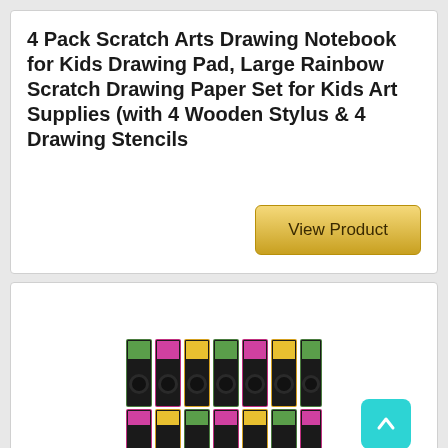4 Pack Scratch Arts Drawing Notebook for Kids Drawing Pad, Large Rainbow Scratch Drawing Paper Set for Kids Art Supplies (with 4 Wooden Stylus & 4 Drawing Stencils
[Figure (other): View Product button - golden yellow gradient rectangular button]
[Figure (photo): Product photo showing multiple scratch art notebook packages arranged in two rows, with colorful packaging]